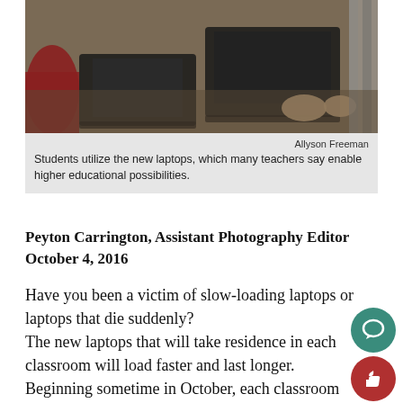[Figure (photo): Students using laptops in a classroom, viewed from above]
Allyson Freeman
Students utilize the new laptops, which many teachers say enable higher educational possibilities.
Peyton Carrington, Assistant Photography Editor
October 4, 2016
Have you been a victim of slow-loading laptops or laptops that die suddenly?
The new laptops that will take residence in each classroom will load faster and last longer.
Beginning sometime in October, each classroom will receive 10 new Lenovo laptops and a charging cart.